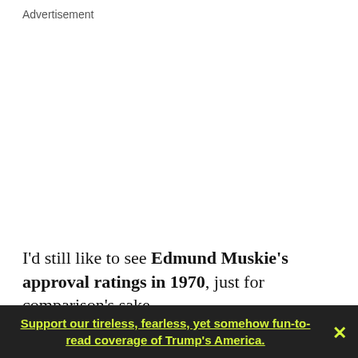Advertisement
I'd still like to see Edmund Muskie's approval ratings in 1970, just for comparison's sake. ... Update: MP has come up with some 1970 Muskie numbers, and sure enough he was popular
Support our tireless, fearless, yet somehow fun-to-read coverage of Trump's America.